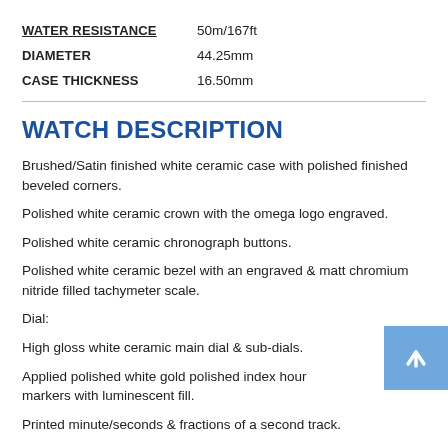| WATER RESISTANCE | 50m/167ft |
| DIAMETER | 44.25mm |
| CASE THICKNESS | 16.50mm |
WATCH DESCRIPTION
Brushed/Satin finished white ceramic case with polished finished beveled corners.
Polished white ceramic crown with the omega logo engraved.
Polished white ceramic chronograph buttons.
Polished white ceramic bezel with an engraved & matt chromium nitride filled tachymeter scale.
Dial:
High gloss white ceramic main dial & sub-dials.
Applied polished white gold polished index hour markers with luminescent fill.
Printed minute/seconds & fractions of a second track.
Polished white gold hands with luminescent fill.